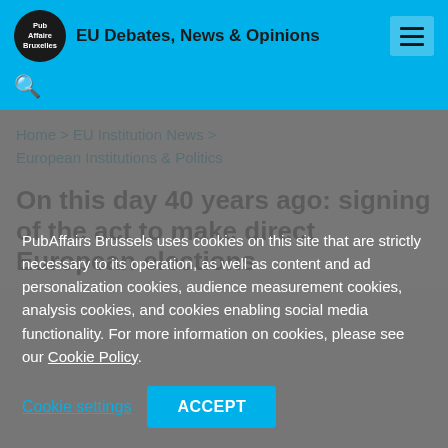EU Debates, News & Opinions
Home > EU Institution News > European Institutions & Politics
On this day 40 years ago: signing of the act to make direct European elections
PubAffairs Brussels uses cookies on this site that are strictly necessary to its operation, as well as content and ad personalization cookies, audience measurement cookies, analysis cookies, and cookies enabling social media functionality. For more information on cookies, please see our Cookie Policy.
Cookie settings   ACCEPT